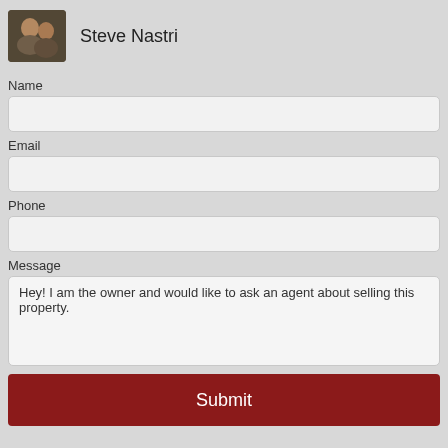[Figure (photo): Headshot photo of Steve Nastri (two people visible)]
Steve Nastri
Name
Email
Phone
Message
Hey! I am the owner and would like to ask an agent about selling this property.
Submit